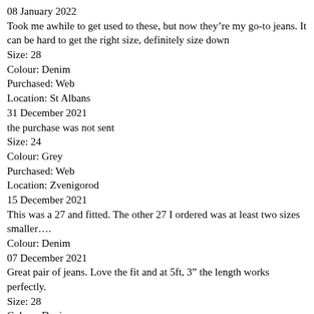08 January 2022
Took me awhile to get used to these, but now they’re my go-to jeans. It can be hard to get the right size, definitely size down
Size: 28
Colour: Denim
Purchased: Web
Location: St Albans
31 December 2021
the purchase was not sent
Size: 24
Colour: Grey
Purchased: Web
Location: Zvenigorod
15 December 2021
This was a 27 and fitted. The other 27 I ordered was at least two sizes smaller….
Colour: Denim
07 December 2021
Great pair of jeans. Love the fit and at 5ft, 3” the length works perfectly.
Size: 28
Colour: Denim
Purchased: Web
Location: London
05 December 2021